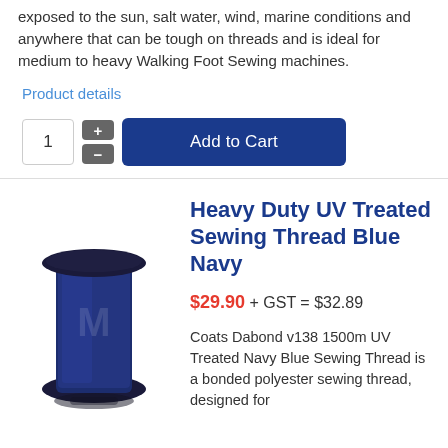exposed to the sun, salt water, wind, marine conditions and anywhere that can be tough on threads and is ideal for medium to heavy Walking Foot Sewing machines.
Product details
[Figure (screenshot): Quantity selector with plus and minus buttons, and Add to Cart button]
[Figure (photo): Spool of heavy duty UV treated navy blue sewing thread]
Heavy Duty UV Treated Sewing Thread Blue Navy
$29.90 + GST = $32.89
Coats Dabond v138 1500m UV Treated Navy Blue Sewing Thread is a bonded polyester sewing thread, designed for